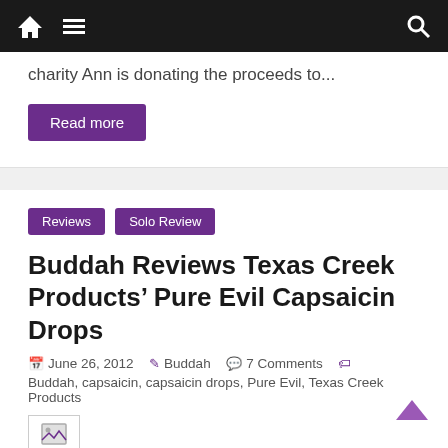Navigation bar with home icon, menu icon, and search icon
charity Ann is donating the proceeds to...
Read more
Reviews   Solo Review
Buddah Reviews Texas Creek Products' Pure Evil Capsaicin Drops
June 26, 2012   Buddah   7 Comments   Buddah, capsaicin, capsaicin drops, Pure Evil, Texas Creek Products